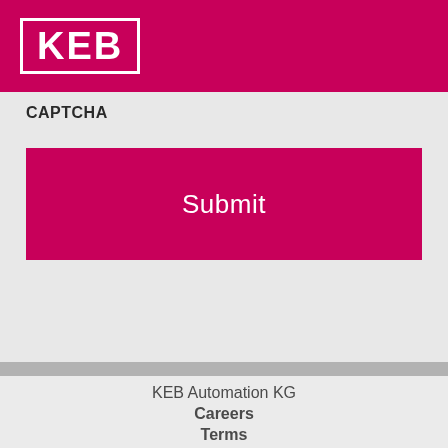KEB
CAPTCHA
Submit
KEB Automation KG
Careers
Terms
Pri...